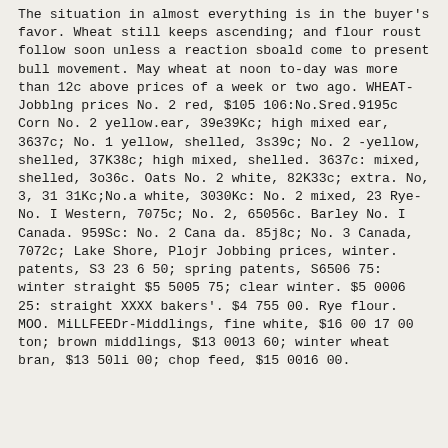The situation in almost everything is in the buyer's favor. Wheat still keeps ascending; and flour roust follow soon unless a reaction sboald come to present bull movement. May wheat at noon to-day was more than 12c above prices of a week or two ago. WHEAT-Jobblng prices No. 2 red, $105 106:No.Sred.9195c Corn No. 2 yellow.ear, 39e39Kc; high mixed ear, 3637c; No. 1 yellow, shelled, 3s39c; No. 2 -yellow, shelled, 37K38c; high mixed, shelled. 3637c: mixed, shelled, 3o36c. Oats No. 2 white, 82K33c; extra. No, 3, 31 31Kc;No.a white, 3030Kc: No. 2 mixed, 23 Rye-No. I Western, 7075c; No. 2, 65056c. Barley No. I Canada. 959Sc: No. 2 Cana da. 85j8c; No. 3 Canada, 7072c; Lake Shore, Plojr Jobbing prices, winter. patents, S3 23 6 50; spring patents, S6506 75: winter straight $5 5005 75; clear winter. $5 0006 25: straight XXXX bakers'. $4 755 00. Rye flour. MOO. MiLLFEEDr-Middlings, fine white, $16 00 17 00 ton; brown middlings, $13 0013 60; winter wheat bran, $13 50li 00; chop feed, $15 0016 00.